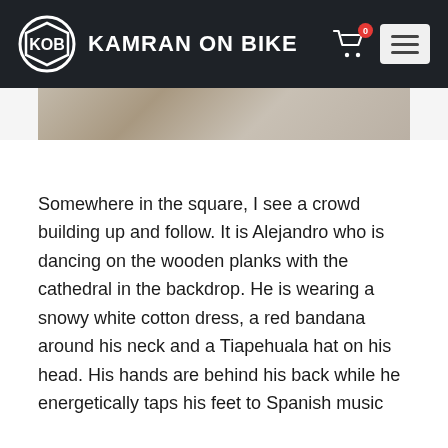KAMRAN ON BIKE
[Figure (photo): Partial view of wooden planks or a wall, cropped image at top of article]
Somewhere in the square, I see a crowd building up and follow. It is Alejandro who is dancing on the wooden planks with the cathedral in the backdrop. He is wearing a snowy white cotton dress, a red bandana around his neck and a Tiapehuala hat on his head. His hands are behind his back while he energetically taps his feet to Spanish music